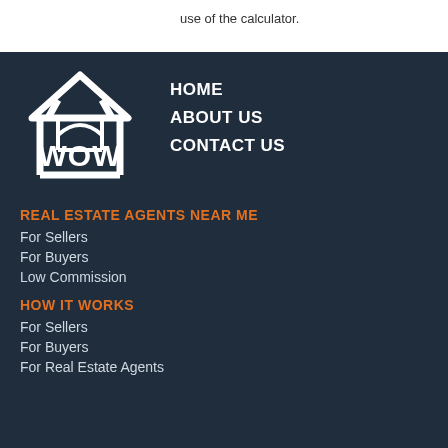use of the calculator.
[Figure (logo): WOW real estate logo — house outline with WOW text inside, white on dark navy background]
HOME
ABOUT US
CONTACT US
REAL ESTATE AGENTS NEAR ME
For Sellers
For Buyers
Low Commission
HOW IT WORKS
For Sellers
For Buyers
For Real Estate Agents